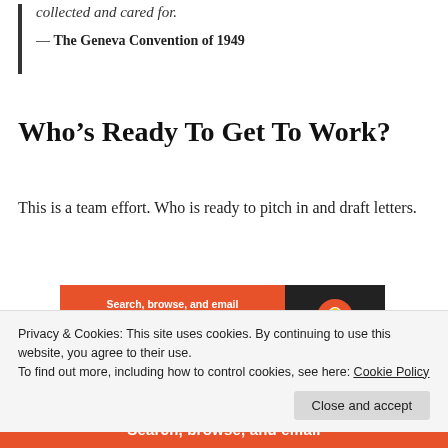collected and cared for.
— The Geneva Convention of 1949
Who's Ready To Get To Work?
This is a team effort. Who is ready to pitch in and draft letters.
[Figure (other): DuckDuckGo advertisement banner: 'Search, browse, and email with more privacy. All in One Free App' with DuckDuckGo logo on dark background]
REPORT THIS AD
Letters to hospitals, letters to doctors, letters to our
Privacy & Cookies: This site uses cookies. By continuing to use this website, you agree to their use.
To find out more, including how to control cookies, see here: Cookie Policy
Close and accept
[Figure (other): DuckDuckGo advertisement strip at bottom: 'Search, browse, and email']